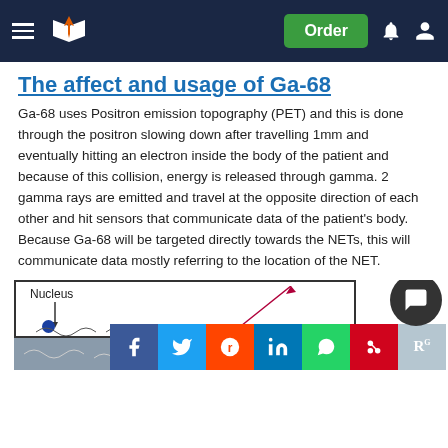Order
The affect and usage of Ga-68
Ga-68 uses Positron emission topography (PET) and this is done through the positron slowing down after travelling 1mm and eventually hitting an electron inside the body of the patient and because of this collision, energy is released through gamma. 2 gamma rays are emitted and travel at the opposite direction of each other and hit sensors that communicate data of the patient’s body. Because Ga-68 will be targeted directly towards the NETs, this will communicate data mostly referring to the location of the NET.
[Figure (illustration): Partial diagram showing a nucleus label with downward arrow and a blue dot, with a gray lower section. Social share buttons (Facebook, Twitter, Reddit, LinkedIn, WhatsApp, Mendeley, ResearchGate) overlay the bottom. A chat bubble icon appears at bottom right.]